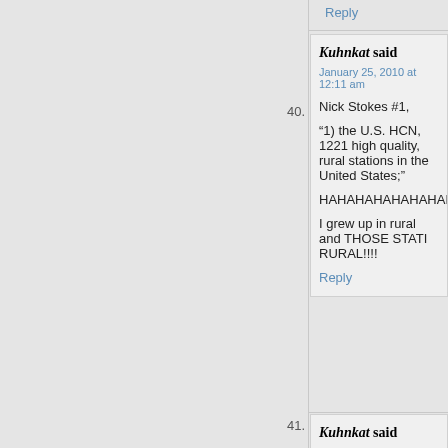Reply
40.
Kuhnkat said
January 25, 2010 at 12:11 am
Nick Stokes #1,
“1) the U.S. HCN, 1221 high quality, rural stations in the United States;"
HAHAHAHAHAHAHAHAHAHAHAH.
I grew up in rural and THOSE STATI RURAL!!!!
Reply
41.
Kuhnkat said
January 25, 2010 at 12:13 am
Jeff Id,
"#37, there is a tendency amongst s